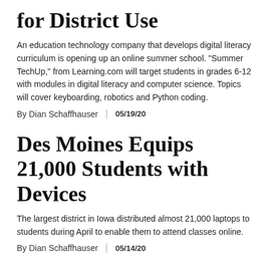for District Use
An education technology company that develops digital literacy curriculum is opening up an online summer school. "Summer TechUp," from Learning.com will target students in grades 6-12 with modules in digital literacy and computer science. Topics will cover keyboarding, robotics and Python coding.
By Dian Schaffhauser | 05/19/20
Des Moines Equips 21,000 Students with Devices
The largest district in Iowa distributed almost 21,000 laptops to students during April to enable them to attend classes online.
By Dian Schaffhauser | 05/14/20
Google Meet Now Available Free